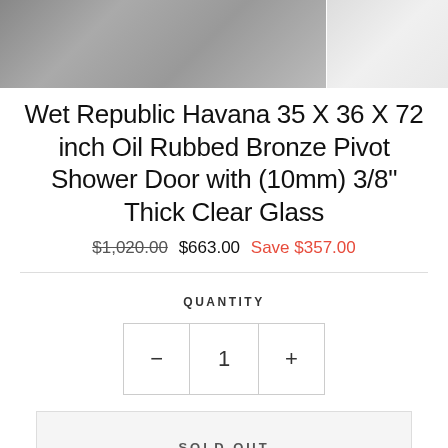[Figure (photo): Product photos of shower door installation — left panel shows dark tile floor with bronze fixtures, right panel shows white/chrome bathroom detail]
Wet Republic Havana 35 X 36 X 72 inch Oil Rubbed Bronze Pivot Shower Door with (10mm) 3/8" Thick Clear Glass
$1,020.00  $663.00  Save $357.00
QUANTITY
- 1 +
SOLD OUT